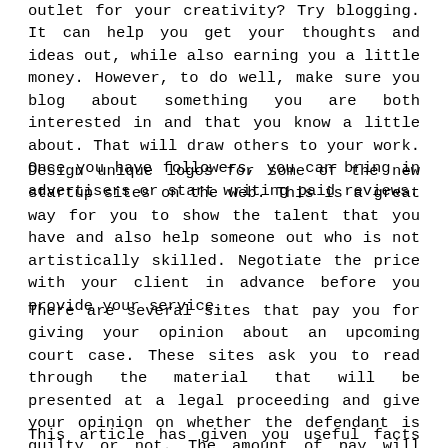outlet for your creativity? Try blogging. It can help you get your thoughts and ideas out, while also earning you a little money. However, to do well, make sure you blog about something you are both interested in and that you know a little about. That will draw others to your work. Once you have followers, you can bring in advertisers or start writing paid reviews.
Design unique logos for some of the new startup sites on the web. This is a great way for you to show the talent that you have and also help someone out who is not artistically skilled. Negotiate the price with your client in advance before you provide your service.
There are several sites that pay you for giving your opinion about an upcoming court case. These sites ask you to read through the material that will be presented at a legal proceeding and give your opinion on whether the defendant is guilty or not. The amount of pay will depend on the amount of time it will take to read through the material.
This article has given you useful facts about making money